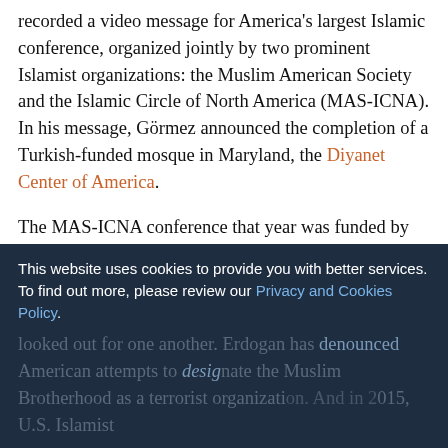recorded a video message for America's largest Islamic conference, organized jointly by two prominent Islamist organizations: the Muslim American Society and the Islamic Circle of North America (MAS-ICNA). In his message, Görmez announced the completion of a Turkish-funded mosque in Maryland, the Diyanet Center of America.
The MAS-ICNA conference that year was funded by the "Turkish-backed" American Zakat Foundation. In return, MAS-ICNA announced that the "Turkish presidency, agencies, several NGOs, state-media TRT World and Daily Sabah will organize events during the summit in Chicago, while President Erdoğan's daughter ... will attend the summit as guest of honor."
looked out for one another. Erdogan has denounced American attempts to designate the Muslim Brotherhood as a terrorist organization. And in 2015, U.S. Islamist
This website uses cookies to provide you with better services. To find out more, please review our Privacy and Cookies Policy.